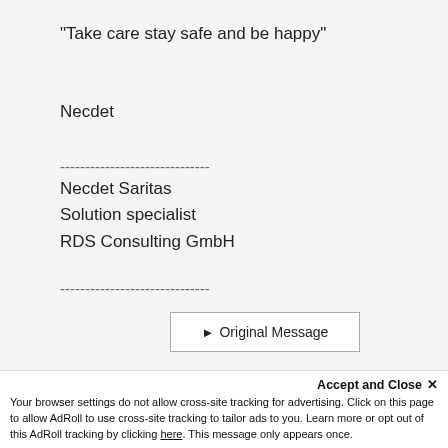"Take care stay safe and be happy"
Necdet
------------------------------
Necdet Saritas
Solution specialist
RDS Consulting GmbH
------------------------------
▶ Original Message
Accept and Close ✕
Your browser settings do not allow cross-site tracking for advertising. Click on this page to allow AdRoll to use cross-site tracking to tailor ads to you. Learn more or opt out of this AdRoll tracking by clicking here. This message only appears once.